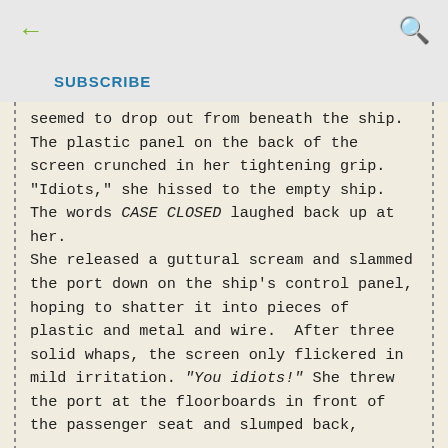← (back) | SUBSCRIBE | (search icon)
seemed to drop out from beneath the ship.  The plastic panel on the back of the screen crunched in her tightening grip.
"Idiots," she hissed to the empty ship. The words CASE CLOSED laughed back up at her.
She released a guttural scream and slammed the port down on the ship's control panel, hoping to shatter it into pieces of plastic and metal and wire.  After three solid whaps, the screen only flickered in mild irritation. "You idiots!" She threw the port at the floorboards in front of the passenger seat and slumped back,